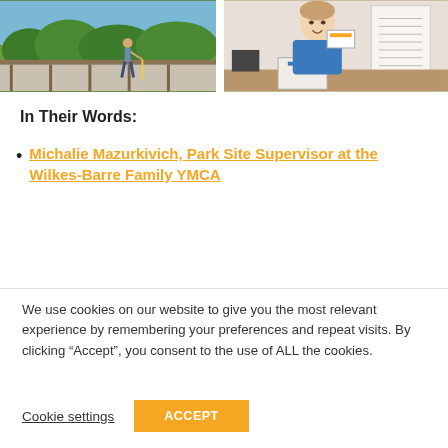[Figure (photo): Two photos side by side: left shows a person working on a construction/roofing site outdoors with green trees in background; right shows a young woman smiling at a desk holding a card, with papers/documents visible in background.]
In Their Words:
Michalie Mazurkivich, Park Site Supervisor at the Wilkes-Barre Family YMCA
We use cookies on our website to give you the most relevant experience by remembering your preferences and repeat visits. By clicking “Accept”, you consent to the use of ALL the cookies.
Cookie settings
ACCEPT